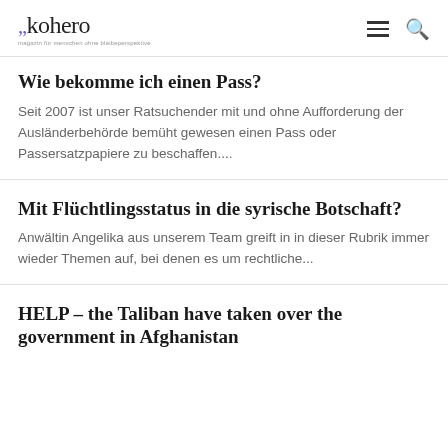kohero
Wie bekomme ich einen Pass?
Seit 2007 ist unser Ratsuchender mit und ohne Aufforderung der Ausländerbehörde bemüht gewesen einen Pass oder Passersatzpapiere zu beschaffen....
Mit Flüchtlingsstatus in die syrische Botschaft?
Anwältin Angelika aus unserem Team greift in in dieser Rubrik immer wieder Themen auf, bei denen es um rechtliche...
HELP – the Taliban have taken over the government in Afghanistan